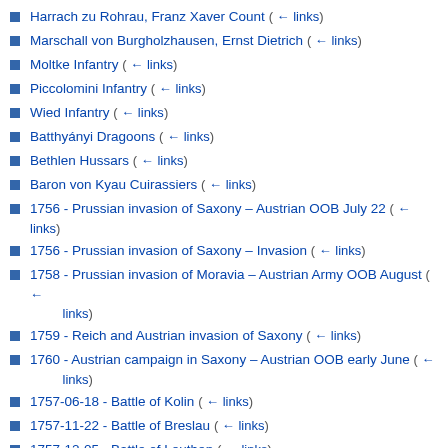Harrach zu Rohrau, Franz Xaver Count  (← links)
Marschall von Burgholzhausen, Ernst Dietrich  (← links)
Moltke Infantry  (← links)
Piccolomini Infantry  (← links)
Wied Infantry  (← links)
Batthyányi Dragoons  (← links)
Bethlen Hussars  (← links)
Baron von Kyau Cuirassiers  (← links)
1756 - Prussian invasion of Saxony – Austrian OOB July 22  (← links)
1756 - Prussian invasion of Saxony – Invasion  (← links)
1758 - Prussian invasion of Moravia – Austrian Army OOB August  (← links)
1759 - Reich and Austrian invasion of Saxony  (← links)
1760 - Austrian campaign in Saxony – Austrian OOB early June  (← links)
1757-06-18 - Battle of Kolin  (← links)
1757-11-22 - Battle of Breslau  (← links)
1757-12-05 - Battle of Leuthen  (← links)
1758-10-14 - Battle of Hochkirch  (← links)
1759-09-02 - Combat of Sorau  (← links)
1759-12-03 – Combat of Meissen  (← links)
1760-09-17 - Combat of Hochgiersdorf  (← links)
1760-11-03 - Battle of Torgau  (← links)